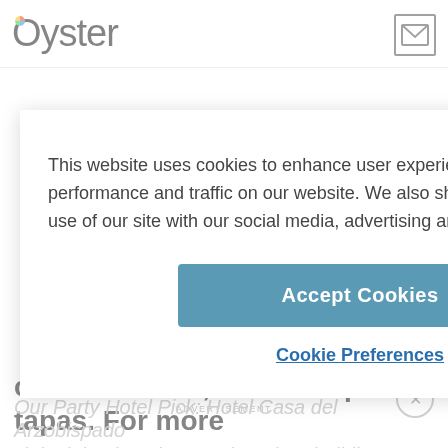Oyster
This website uses cookies to enhance user experience and to analyze performance and traffic on our website. We also share information about your use of our site with our social media, advertising and analytics partners.
Accept Cookies
Cookie Preferences
craft cocktails, and Via Apia for tapas. For more
nightclubs, beaches, and modern buildings, take a quick taxi to the Bocagrande neighborhood.
ADVERTISEMENT
Our Party Hotel Pick: Hotel Casa del Arzobispado